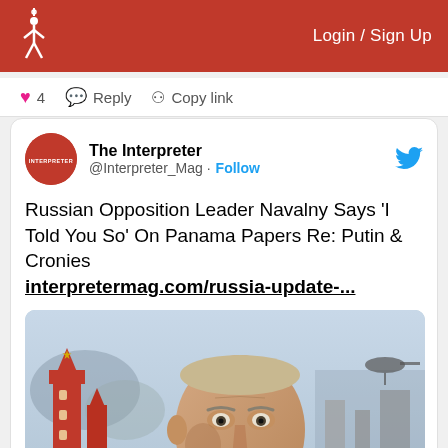Login / Sign Up
❤ 4   Reply   Copy link
The Interpreter @Interpreter_Mag · Follow
Russian Opposition Leader Navalny Says 'I Told You So' On Panama Papers Re: Putin & Cronies interpretermag.com/russia-update-...
[Figure (illustration): Illustrated portrait of Vladimir Putin with Kremlin towers and conflict imagery in the background]